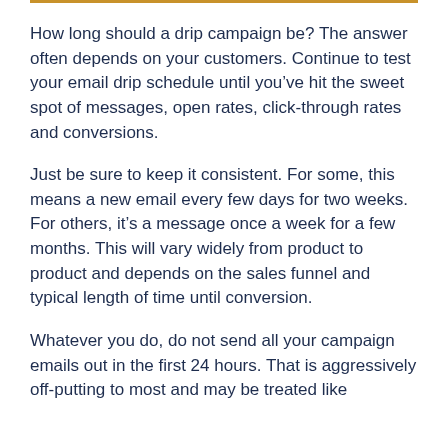How long should a drip campaign be? The answer often depends on your customers. Continue to test your email drip schedule until you've hit the sweet spot of messages, open rates, click-through rates and conversions.
Just be sure to keep it consistent. For some, this means a new email every few days for two weeks. For others, it's a message once a week for a few months. This will vary widely from product to product and depends on the sales funnel and typical length of time until conversion.
Whatever you do, do not send all your campaign emails out in the first 24 hours. That is aggressively off-putting to most and may be treated like